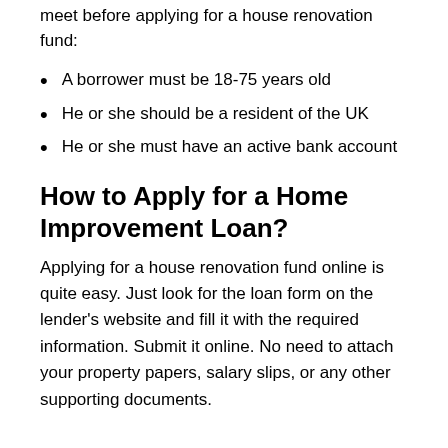meet before applying for a house renovation fund:
A borrower must be 18-75 years old
He or she should be a resident of the UK
He or she must have an active bank account
How to Apply for a Home Improvement Loan?
Applying for a house renovation fund online is quite easy. Just look for the loan form on the lender's website and fill it with the required information. Submit it online. No need to attach your property papers, salary slips, or any other supporting documents.